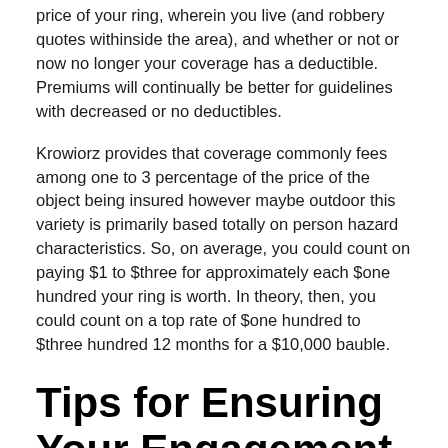price of your ring, wherein you live (and robbery quotes withinside the area), and whether or not or now no longer your coverage has a deductible. Premiums will continually be better for guidelines with decreased or no deductibles.
Krowiorz provides that coverage commonly fees among one to 3 percentage of the price of the object being insured however maybe outdoor this variety is primarily based totally on person hazard characteristics. So, on average, you could count on paying $1 to $three for approximately each $one hundred your ring is worth. In theory, then, you could count on a top rate of $one hundred to $three hundred 12 months for a $10,000 bauble.
Tips for Ensuring Your Engagement Ring